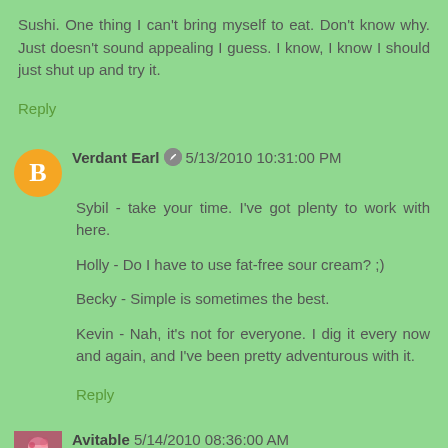Sushi. One thing I can't bring myself to eat. Don't know why. Just doesn't sound appealing I guess. I know, I know I should just shut up and try it.
Reply
Verdant Earl 5/13/2010 10:31:00 PM
Sybil - take your time. I've got plenty to work with here.

Holly - Do I have to use fat-free sour cream? ;)

Becky - Simple is sometimes the best.

Kevin - Nah, it's not for everyone. I dig it every now and again, and I've been pretty adventurous with it.
Reply
Avitable 5/14/2010 08:36:00 AM
I don't have a go-to meal. I'd much rather go out.